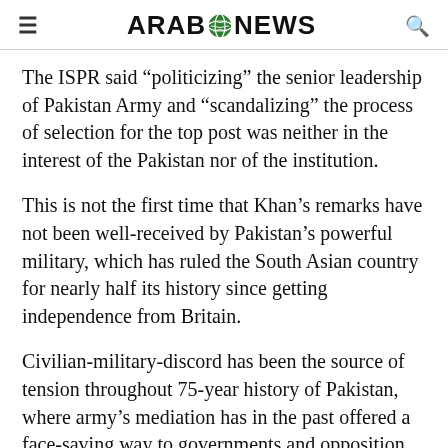ARAB NEWS
The ISPR said “politicizing” the senior leadership of Pakistan Army and “scandalizing” the process of selection for the top post was neither in the interest of the Pakistan nor of the institution.
This is not the first time that Khan’s remarks have not been well-received by Pakistan’s powerful military, which has ruled the South Asian country for nearly half its history since getting independence from Britain.
Civilian-military-discord has been the source of tension throughout 75-year history of Pakistan, where army’s mediation has in the past offered a face-saving way to governments and opposition parties.